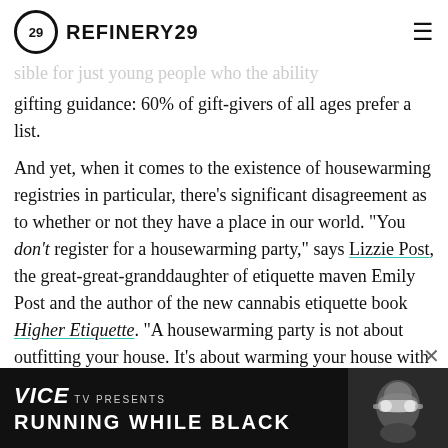REFINERY29
gifting guidance: 60% of gift-givers of all ages prefer a list.
And yet, when it comes to the existence of housewarming registries in particular, there's significant disagreement as to whether or not they have a place in our world. “You don’t register for a housewarming party,” says Lizzie Post, the great-great-granddaughter of etiquette maven Emily Post and the author of the new cannabis etiquette book Higher Etiquette. “A housewarming party is not about outfitting your house. It’s about warming your house with the presence of your family and friends.”
[Figure (screenshot): Advertisement banner for VICE TV presents Running While Black, showing a person with ski goggles on a dark background]